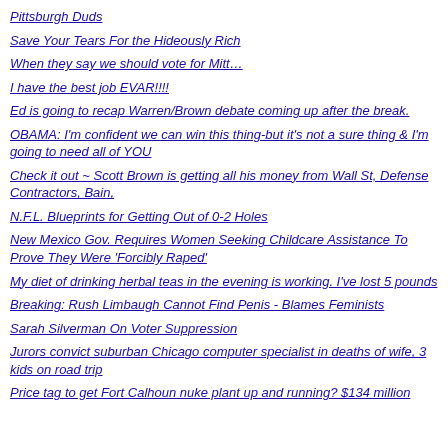Pittsburgh Duds
Save Your Tears For the Hideously Rich
When they say we should vote for Mitt…
I have the best job EVAR!!!!
Ed is going to recap Warren/Brown debate coming up after the break.
OBAMA: I'm confident we can win this thing-but it's not a sure thing & I'm going to need all of YOU
Check it out ~ Scott Brown is getting all his money from Wall St, Defense Contractors, Bain,
N.F.L. Blueprints for Getting Out of 0-2 Holes
New Mexico Gov. Requires Women Seeking Childcare Assistance To Prove They Were 'Forcibly Raped'
My diet of drinking herbal teas in the evening is working. I've lost 5 pounds
Breaking: Rush Limbaugh Cannot Find Penis - Blames Feminists
Sarah Silverman On Voter Suppression
Jurors convict suburban Chicago computer specialist in deaths of wife, 3 kids on road trip
Price tag to get Fort Calhoun nuke plant up and running? $134 million